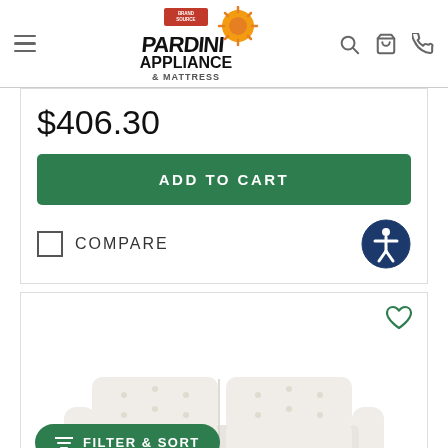[Figure (logo): Pardini Appliance & Mattress logo with Brand Source badge and orange sun/gear icon]
$406.30
ADD TO CART
COMPARE
[Figure (photo): White/cream tufted loveseat/sofa on white background]
FILTER & SORT